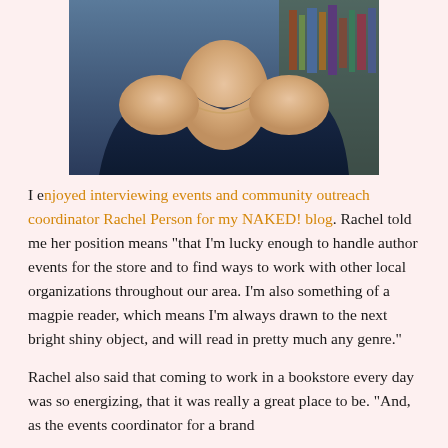[Figure (photo): Partial photo of a woman in a dark sleeveless top, cropped to show shoulders and neckline, with bookshelves visible in the background.]
I enjoyed interviewing events and community outreach coordinator Rachel Person for my NAKED! blog. Rachel told me her position means "that I'm lucky enough to handle author events for the store and to find ways to work with other local organizations throughout our area. I'm also something of a magpie reader, which means I'm always drawn to the next bright shiny object, and will read in pretty much any genre."
Rachel also said that coming to work in a bookstore every day was so energizing, that it was really a great place to be. "And, as the events coordinator for a brand